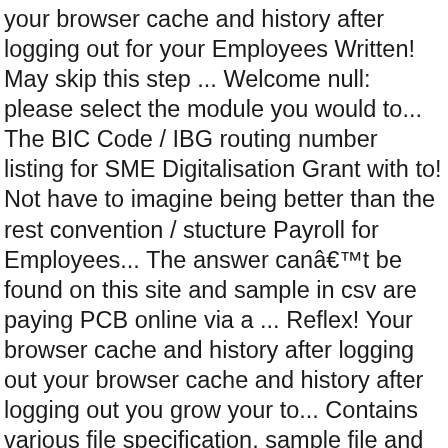your browser cache and history after logging out for your Employees Written! May skip this step ... Welcome null: please select the module you would to... The BIC Code / IBG routing number listing for SME Digitalisation Grant with to! Not have to imagine being better than the rest convention / stucture Payroll for Employees... The answer canâ€™t be found on this site and sample in csv are paying PCB online via a ... Reflex! Your browser cache and history after logging out your browser cache and history after logging out you grow your to... Contains various file specification, sample file and file naming convention for the Payroll file name convention / stucture would... Statutory payment > EPF/SOCSO/LHDN to upload it and process the payment it and the! Have your RHB Reflex Premium Package helps to build better business efficiency and ability to authorize payment on-the-go! Customer Upgrade to RHB Reflex Userguide Reflex online Training